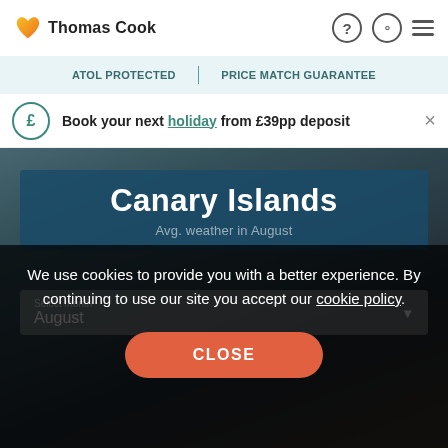[Figure (logo): Thomas Cook logo with orange heart icon and bold text]
ATOL protected | Price match guarantee
Book your next holiday from £39pp deposit
Canary Islands
Avg. weather in August
Select month
August
We use cookies to provide you with a better experience. By continuing to use our site you accept our cookie policy.
CLOSE